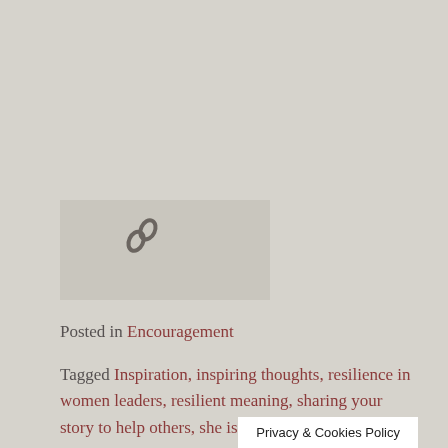[Figure (illustration): A chain link icon (two overlapping oval rings forming a hyperlink symbol) displayed in a light grey box]
Posted in Encouragement
Tagged Inspiration, inspiring thoughts, resilience in women leaders, resilient meaning, sharing your story to help others, she is resilient, strong confident woman, strong woman message, the healing power of telling your story, the power of sharing stories, women empowerment
Privacy & Cookies Policy